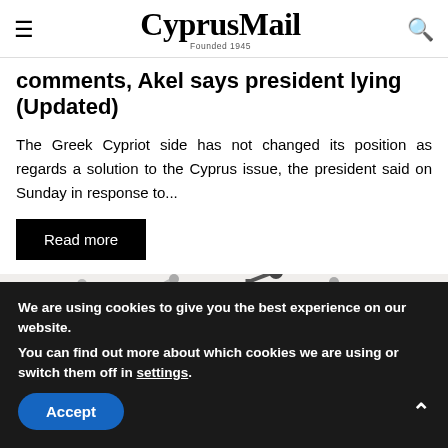CyprusMail — Founded 1945
comments, Akel says president lying (Updated)
The Greek Cypriot side has not changed its position as regards a solution to the Cyprus issue, the president said on Sunday in response to...
Read more
[Figure (photo): Street lamps in winter, silhouetted against a white sky]
We are using cookies to give you the best experience on our website.
You can find out more about which cookies we are using or switch them off in settings.
Accept